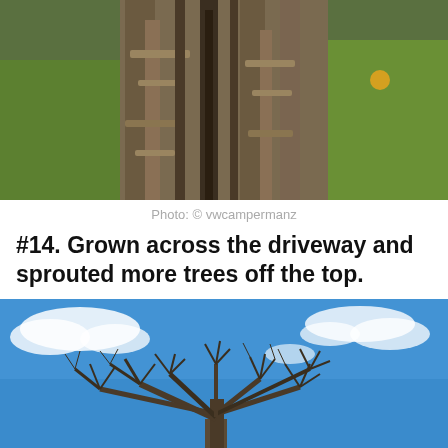[Figure (photo): Close-up photograph of a large tree trunk with deeply ridged bark, surrounded by green grass in the background.]
Photo: © vwcampermanz
#14. Grown across the driveway and sprouted more trees off the top.
[Figure (photo): Photograph of a large bare tree with spreading branches against a blue sky with white clouds.]